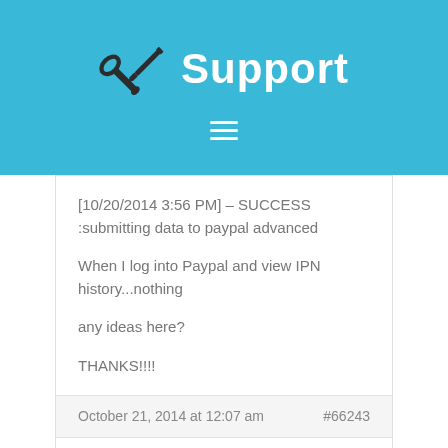Support
[10/20/2014 3:56 PM] – SUCCESS :submitting data to paypal advanced

When I log into Paypal and view IPN history...nothing

any ideas here?

THANKS!!!!
October 21, 2014 at 12:07 am  #66243
Rhubarb
Member